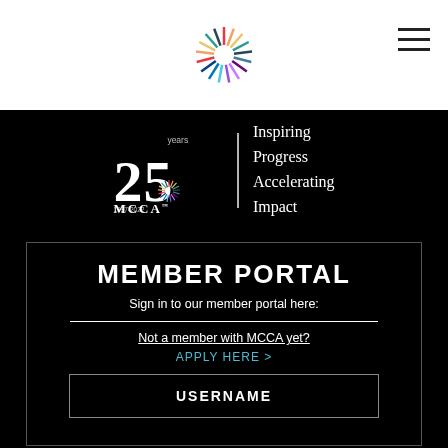[Figure (logo): MCCA 25 years colorful starburst logo in navigation bar]
[Figure (logo): MCCA 25 years anniversary logo with starburst, 1997-2022 dates, and tagline Inspiring Progress Accelerating Impact on black background]
MEMBER PORTAL
Sign in to our member portal here:
Not a member with MCCA yet?
APPLY HERE >
USERNAME